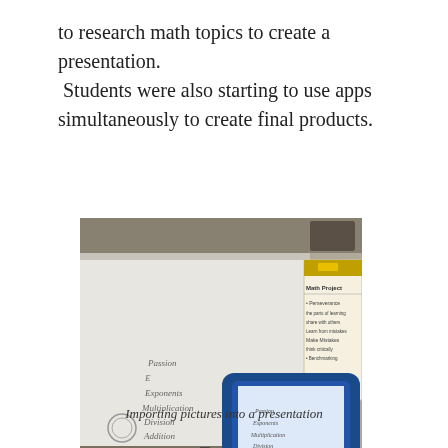to research math topics to create a presentation. Students were also starting to use apps simultaneously to create final products.
[Figure (photo): A student's hand holding a tablet (iPad in blue case) photographing a whiteboard. The whiteboard shows handwritten math terms. A sticky note on the whiteboard reads 'Math Project' with bullet points about project norms.]
Importing pictures into a presentation